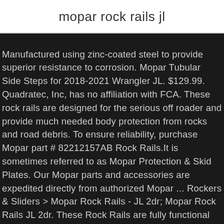mopar rock rails jl
Manufactured using zinc-coated steel to provide superior resistance to corrosion. Mopar Tubular Side Steps for 2018-2021 Wrangler JL. $129.99. Quadratec, Inc, has no affiliation with FCA. These rock rails are designed for the serious off roader and provide much needed body protection from rocks and road debris. To ensure reliability, purchase Mopar part # 82212157AB Rock Rails.It is sometimes referred to as Mopar Protection & Skid Plates. Our Mopar parts and accessories are expedited directly from authorized Mopar ... Rockers & Sliders > Mopar Rock Rails - JL 2dr; Mopar Rock Rails JL 2dr. These Rock Rails are fully functional and provide rocker panel and lower body-side protection. If you were previously given a quote number you may enter it below. This Pair of Mopar (82215128) Rubicon Rock Rails comes with new rock rails for both the driver and passenger side of your JL. The surface ... Please give us a call at the phone number located on